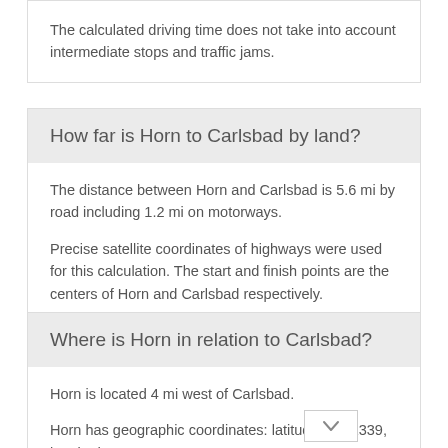The calculated driving time does not take into account intermediate stops and traffic jams.
How far is Horn to Carlsbad by land?
The distance between Horn and Carlsbad is 5.6 mi by road including 1.2 mi on motorways.
Precise satellite coordinates of highways were used for this calculation. The start and finish points are the centers of Horn and Carlsbad respectively.
Where is Horn in relation to Carlsbad?
Horn is located 4 mi west of Carlsbad.
Horn has geographic coordinates: latitude 50.21339, longitude 12.79002